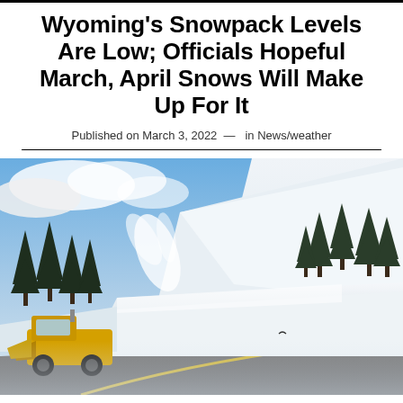Wyoming's Snowpack Levels Are Low; Officials Hopeful March, April Snows Will Make Up For It
Published on March 3, 2022  —  in News/weather
[Figure (photo): A yellow snowplow truck clearing a mountain road surrounded by deep snowbanks and snow-covered evergreen trees on a partly cloudy day.]